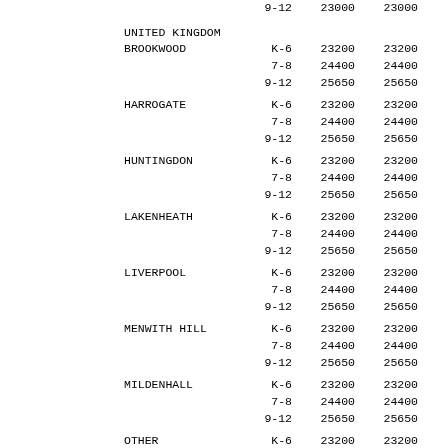| Location | Grade | Col1 | Col2 |
| --- | --- | --- | --- |
|  | 9-12 | 23000 | 23000 |
| UNITED KINGDOM |  |  |  |
| BROOKWOOD | K-6 | 23200 | 23200 |
|  | 7-8 | 24400 | 24400 |
|  | 9-12 | 25650 | 25650 |
| HARROGATE | K-6 | 23200 | 23200 |
|  | 7-8 | 24400 | 24400 |
|  | 9-12 | 25650 | 25650 |
| HUNTINGDON | K-6 | 23200 | 23200 |
|  | 7-8 | 24400 | 24400 |
|  | 9-12 | 25650 | 25650 |
| LAKENHEATH | K-6 | 23200 | 23200 |
|  | 7-8 | 24400 | 24400 |
|  | 9-12 | 25650 | 25650 |
| LIVERPOOL | K-6 | 23200 | 23200 |
|  | 7-8 | 24400 | 24400 |
|  | 9-12 | 25650 | 25650 |
| MENWITH HILL | K-6 | 23200 | 23200 |
|  | 7-8 | 24400 | 24400 |
|  | 9-12 | 25650 | 25650 |
| MILDENHALL | K-6 | 23200 | 23200 |
|  | 7-8 | 24400 | 24400 |
|  | 9-12 | 25650 | 25650 |
| OTHER | K-6 | 23200 | 23200 |
|  | 7-8 | 24400 | 24400 |